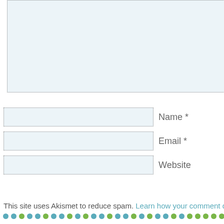[Figure (screenshot): Comment form textarea (large dotted-border input box at top)]
Name *
Email *
Website
POST COMMENT
This site uses Akismet to reduce spam. Learn how your comment data is
[Figure (other): Row of alternating teal and green dots decorative footer]